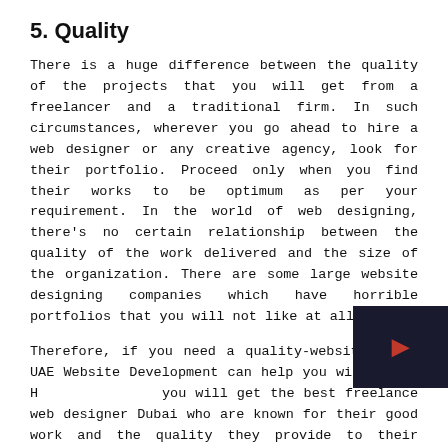5. Quality
There is a huge difference between the quality of the projects that you will get from a freelancer and a traditional firm. In such circumstances, wherever you go ahead to hire a web designer or any creative agency, look for their portfolio. Proceed only when you find their works to be optimum as per your requirement. In the world of web designing, there's no certain relationship between the quality of the work delivered and the size of the organization. There are some large website designing companies which have horrible portfolios that you will not like at all.
Therefore, if you need a quality-website, then UAE Website Development can help you with that. Here you will get the best freelance web designer Dubai who are known for their good work and the quality they provide to their clients. You will get a higher quality website with the help of freelance web